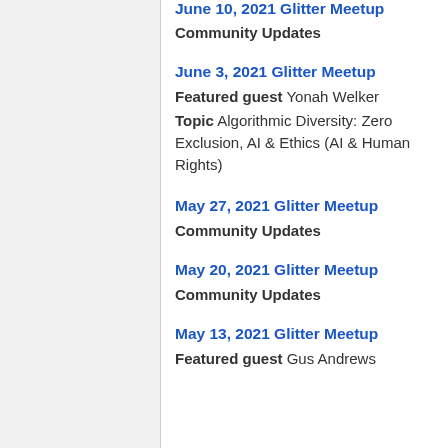June 10, 2021 Glitter Meetup
Community Updates
June 3, 2021 Glitter Meetup
Featured guest Yonah Welker
Topic Algorithmic Diversity: Zero Exclusion, AI & Ethics (AI & Human Rights)
May 27, 2021 Glitter Meetup
Community Updates
May 20, 2021 Glitter Meetup
Community Updates
May 13, 2021 Glitter Meetup
Featured guest Gus Andrews